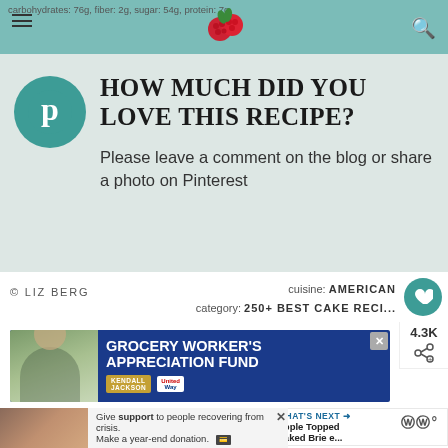carbohydrates: 76g, fiber: 2g, sugar: 54g, protein: 7g
[Figure (logo): Red raspberries logo in the center of the teal navigation bar]
HOW MUCH DID YOU LOVE THIS RECIPE?
Please leave a comment on the blog or share a photo on Pinterest
© LIZ BERG
cuisine: AMERICAN
category: 250+ BEST CAKE RECI...
[Figure (photo): Grocery Worker's Appreciation Fund advertisement banner with person in apron, Kendall Jackson and United Way logos]
[Figure (other): What's Next panel showing Apple Topped Baked Brie thumbnail]
WHAT'S NEXT →
Apple Topped Baked Brie e...
[Figure (photo): Bottom advertisement: Give support to people recovering from crisis. Make a year-end donation.]